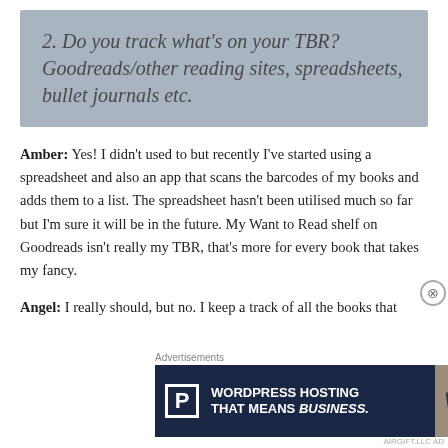2. Do you track what's on your TBR? Goodreads/other reading sites, spreadsheets, bullet journals etc.
Amber: Yes! I didn't used to but recently I've started using a spreadsheet and also an app that scans the barcodes of my books and adds them to a list. The spreadsheet hasn't been utilised much so far but I'm sure it will be in the future. My Want to Read shelf on Goodreads isn't really my TBR, that's more for every book that takes my fancy.
Angel: I really should, but no. I keep a track of all the books that
[Figure (other): Advertisement banner: WordPress Hosting That Means Business, with P logo and OPEN sign photo]